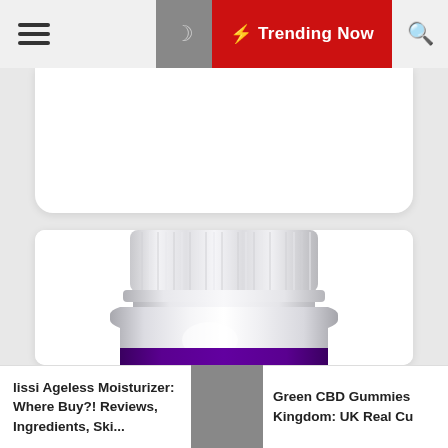☰ 🌙 ⚡ Trending Now 🔍
[Figure (photo): Top of a white supplement/pill bottle with a ribbed white screw cap and a purple label band at the bottom, shown against a white background inside a card.]
lissi Ageless Moisturizer: Where Buy?! Reviews, Ingredients, Ski...
Green CBD Gummies Kingdom: UK Real Cu